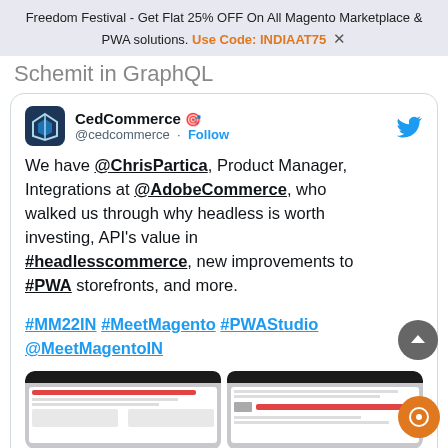Freedom Festival - Get Flat 25% OFF On All Magento Marketplace & PWA solutions. Use Code: INDIAAT75  ✕
Schemit in GraphQL
[Figure (screenshot): Embedded tweet from CedCommerce (@cedcommerce) with Follow button and Twitter bird icon. Tweet text: We have @ChrisPartica, Product Manager, Integrations at @AdobeCommerce, who walked us through why headless is worth investing, API's value in #headlesscommerce, new improvements to #PWA storefronts, and more. #MM22IN #MeetMagento #PWAStudio @MeetMagentoIN. Below the text are two tablet/laptop screenshots showing presentation slides.]